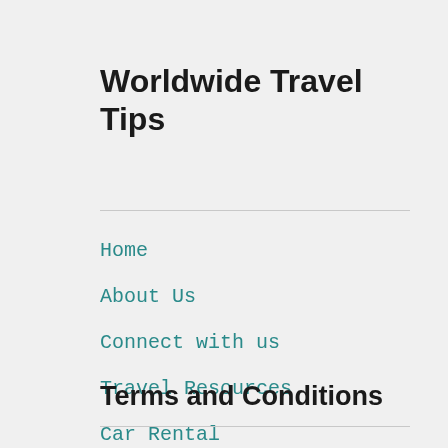Worldwide Travel Tips
Home
About Us
Connect with us
Travel Resources
Car Rental
Terms and Conditions